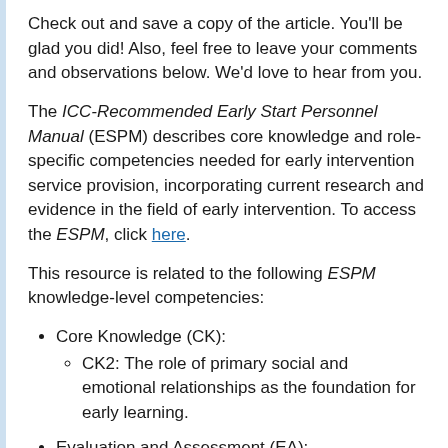Check out and save a copy of the article. You'll be glad you did! Also, feel free to leave your comments and observations below. We'd love to hear from you.
The ICC-Recommended Early Start Personnel Manual (ESPM) describes core knowledge and role-specific competencies needed for early intervention service provision, incorporating current research and evidence in the field of early intervention. To access the ESPM, click here.
This resource is related to the following ESPM knowledge-level competencies:
Core Knowledge (CK):
CK2: The role of primary social and emotional relationships as the foundation for early learning.
Evaluation and Assessment (EA):
EA1: Knows strategies that support